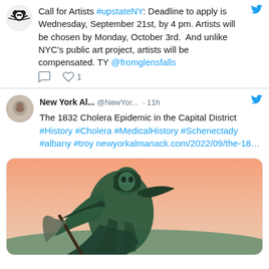Call for Artists #upstateNY: Deadline to apply is Wednesday, September 21st, by 4 pm. Artists will be chosen by Monday, October 3rd. And unlike NYC's public art project, artists will be compensated. TY @fromglensfalls
[Figure (screenshot): Tweet action icons: reply bubble and heart with count 1]
New York Al... @NewYor... · 11h
The 1832 Cholera Epidemic in the Capital District #History #Cholera #MedicalHistory #Schenectady #albany #troy newyorkalmanack.com/2022/09/the-18...
[Figure (illustration): Historical illustration of a dark green robed skeletal figure (representing cholera/death) holding a scythe, against a warm pink/orange sky background]